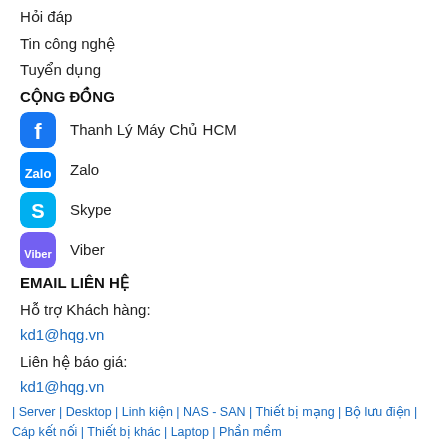Hỏi đáp
Tin công nghệ
Tuyển dụng
CỘNG ĐỒNG
Thanh Lý Máy Chủ HCM
Zalo
Skype
Viber
EMAIL LIÊN HỆ
Hỗ trợ Khách hàng:
kd1@hqg.vn
Liên hệ báo giá:
kd1@hqg.vn
Hợp tác phát triển:
kd1@hqg.vn
[Figure (illustration): Teal phone call button (circular icon)]
| Server | Desktop | Linh kiện | NAS - SAN | Thiết bị mạng | Bộ lưu điện | Cáp kết nối | Thiết bị khác | Laptop | Phần mềm